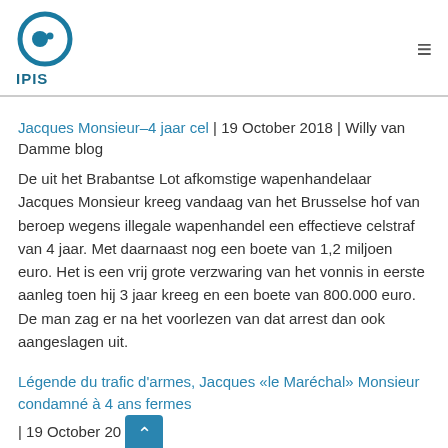IPIS
Jacques Monsieur–4 jaar cel | 19 October 2018 | Willy van Damme blog
De uit het Brabantse Lot afkomstige wapenhandelaar Jacques Monsieur kreeg vandaag van het Brusselse hof van beroep wegens illegale wapenhandel een effectieve celstraf van 4 jaar. Met daarnaast nog een boete van 1,2 miljoen euro. Het is een vrij grote verzwaring van het vonnis in eerste aanleg toen hij 3 jaar kreeg en een boete van 800.000 euro. De man zag er na het voorlezen van dat arrest dan ook aangeslagen uit.
Légende du trafic d'armes, Jacques «le Maréchal» Monsieur condamné à 4 ans fermes | 19 October 2018 | l'Avenir